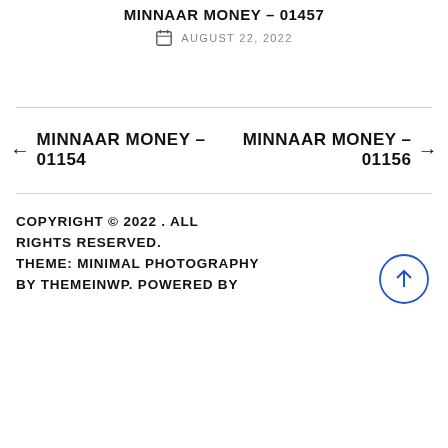MINNAAR MONEY – 01457
AUGUST 22, 2022
← MINNAAR MONEY – 01154
MINNAAR MONEY – 01156 →
COPYRIGHT © 2022 . ALL RIGHTS RESERVED. THEME: MINIMAL PHOTOGRAPHY BY THEMEINWP. POWERED BY